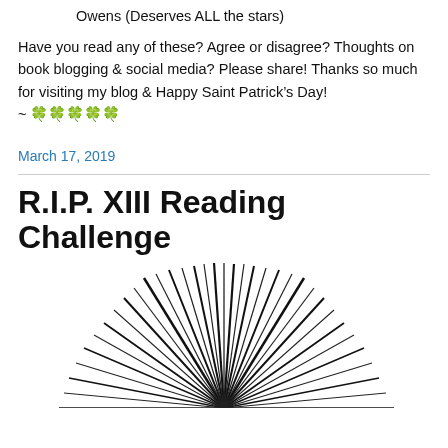Owens (Deserves ALL the stars)
Have you read any of these? Agree or disagree? Thoughts on book blogging & social media? Please share! Thanks so much for visiting my blog & Happy Saint Patrick’s Day!
~ 🍀🍀🍀🍀🍀
March 17, 2019
R.I.P. XIII Reading Challenge
[Figure (illustration): Black spiky plant illustration, like sharp dark spines radiating from a center point, resembling a dark botanical or abstract burst graphic]